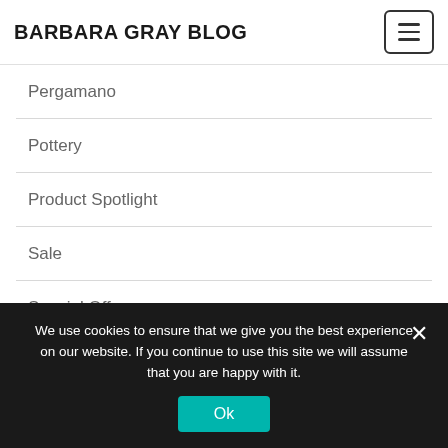BARBARA GRAY BLOG
Pergamano
Pottery
Product Spotlight
Sale
Special Offer
Stamp step by step
Stencil step by step
We use cookies to ensure that we give you the best experience on our website. If you continue to use this site we will assume that you are happy with it.